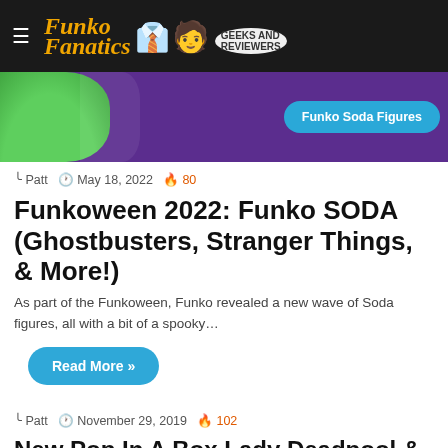Funko Fanatics
[Figure (illustration): Banner image with purple background showing Funko Soda Figures badge/label in blue pill shape on the right side, with green ghost-like figure on the left]
Patt  May 18, 2022  80
Funkoween 2022: Funko SODA (Ghostbusters, Stranger Things, & More!)
As part of the Funkoween, Funko revealed a new wave of Soda figures, all with a bit of a spooky…
Read More »
Patt  November 29, 2019  102
New Pop In A Box Lady Deadpool & Ursula Exclusives Are Now Available
Pop in a Box opened up orders on their 2 latest exclusives, Lady Deadpool & Ursula or Vanessa. Lady Deadpool…